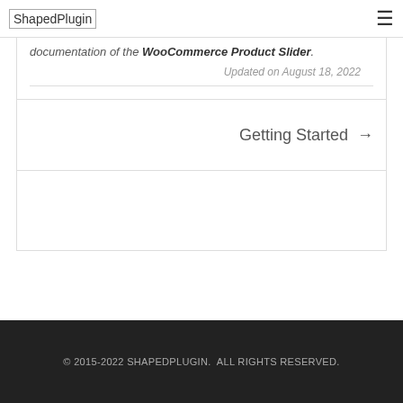ShapedPlugin
documentation of the WooCommerce Product Slider.
Updated on August 18, 2022
Getting Started →
© 2015-2022 SHAPEDPLUGIN.  ALL RIGHTS RESERVED.